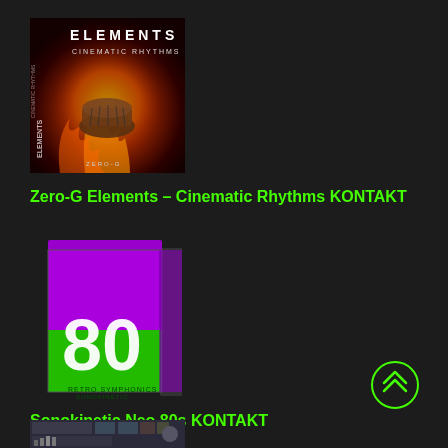[Figure (photo): Zero-G Elements Cinematic Rhythms KONTAKT product box art - dark fiery background with drum instrument and text 'ELEMENTS CINEMATIC RHYTHMS']
Zero-G Elements – Cinematic Rhythms KONTAKT
[Figure (photo): Sonokinetic Neo 80s KONTAKT product box - purple and green colored box with large '80' text]
Sonokinetic Neo 80s KONTAKT
[Figure (screenshot): Small thumbnail screenshot of a DAW or plugin interface at the bottom of the page]
[Figure (illustration): Scroll to top button - green circle with double chevron up arrow]